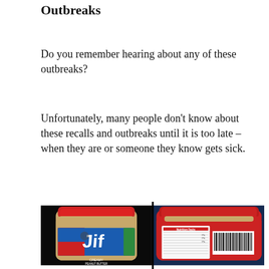Outbreaks
Do you remember hearing about any of these outbreaks?
Unfortunately, many people don't know about these recalls and outbreaks until it is too late – when they are or someone they know gets sick.
[Figure (photo): Two photos of a Jif Creamy Peanut Butter jar side by side — left shows the front label with the Jif logo on a blue/red/green label, right shows the back label with the nutrition facts panel and barcode. Both jars have a red lid.]